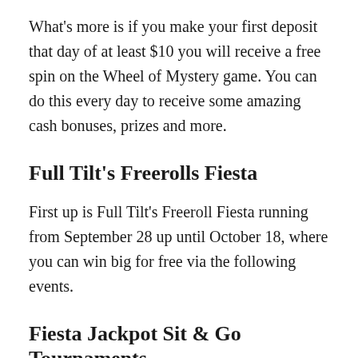What's more is if you make your first deposit that day of at least $10 you will receive a free spin on the Wheel of Mystery game. You can do this every day to receive some amazing cash bonuses, prizes and more.
Full Tilt's Freerolls Fiesta
First up is Full Tilt's Freeroll Fiesta running from September 28 up until October 18, where you can win big for free via the following events.
Fiesta Jackpot Sit & Go Tournaments